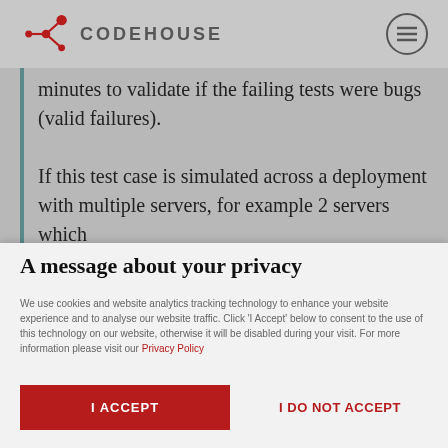CODEHOUSE
minutes to validate if the failing tests were bugs (valid failures).
If this test case is simulated across a deployment with multiple servers, for example 2 servers which
A message about your privacy
We use cookies and website analytics tracking technology to enhance your website experience and to analyse our website traffic. Click 'I Accept' below to consent to the use of this technology on our website, otherwise it will be disabled during your visit. For more information please visit our Privacy Policy
I ACCEPT
I DO NOT ACCEPT